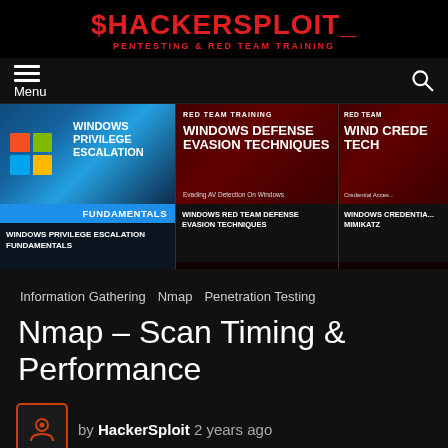$HACKERSPLOIT_
PENTESTING & RED TEAM TRAINING
[Figure (screenshot): Navigation bar with hamburger menu icon and search icon on dark background]
[Figure (screenshot): Three course cards: Windows Privilege Escalation Fundamentals, Windows Defense Evasion Techniques, Windows Credential/Mimikatz (partially visible)]
WINDOWS PRIVILEGE ESCALATION FUNDAMENTALS
WINDOWS RED TEAM DEFENSE EVASION TECHNIQUES
WINDOWS CREDENTIA... MIMIKATZ
Information Gathering   Nmap   Penetration Testing
Nmap – Scan Timing & Performance
by HackerSploit 2 years ago